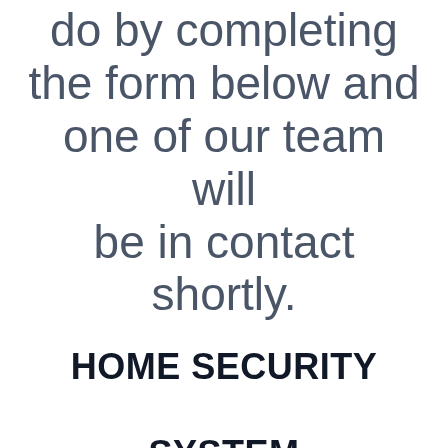do by completing the form below and one of our team will be in contact shortly.
HOME SECURITY SYSTEM JORDANHILL
Full Name (required)
[Figure (other): Empty text input field for Full Name]